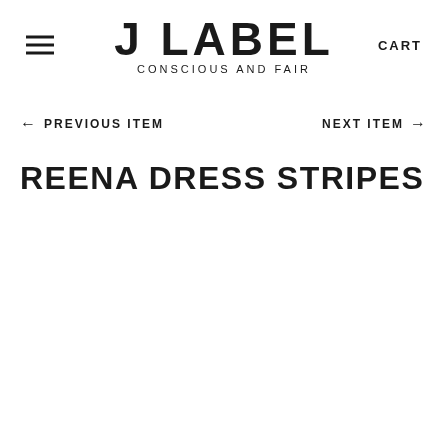J LABEL CONSCIOUS AND FAIR
← PREVIOUS ITEM   NEXT ITEM →
REENA DRESS STRIPES